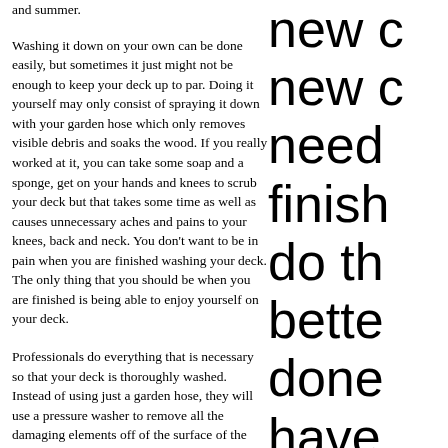and summer.
Washing it down on your own can be done easily, but sometimes it just might not be enough to keep your deck up to par. Doing it yourself may only consist of spraying it down with your garden hose which only removes visible debris and soaks the wood. If you really worked at it, you can take some soap and a sponge, get on your hands and knees to scrub your deck but that takes some time as well as causes unnecessary aches and pains to your knees, back and neck. You don't want to be in pain when you are finished washing your deck. The only thing that you should be when you are finished is being able to enjoy yourself on your deck.
Professionals do everything that is necessary so that your deck is thoroughly washed. Instead of using just a garden hose, they will use a pressure washer to remove all the damaging elements off of the surface of the deck without causing any structural harm to the wood. Hiring professionals to wash your deck is the smartest decision that you can make for your deck. Most of them have the proper knowledge, experience, and the proper equipment to get the hob done right so that you can be back out on your deck.
new c
new c
need
finish
do th
bette
done
have
arou
years
to res
last fo
break
your
going
every